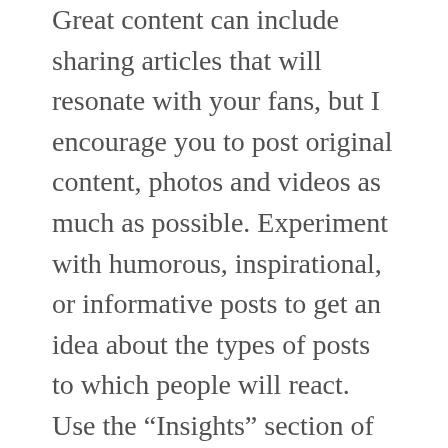Great content can include sharing articles that will resonate with your fans, but I encourage you to post original content, photos and videos as much as possible. Experiment with humorous, inspirational, or informative posts to get an idea about the types of posts to which people will react. Use the “Insights” section of your Page to gather more information about what people want to see. I’ll write another post about what items to look for in Insights.
Once people start reacting and sharing your content, you can invite people to Like your Page who haven’t done so already. I created a video showing how to “Invite People Who Liked Your Post to Like Your Page”